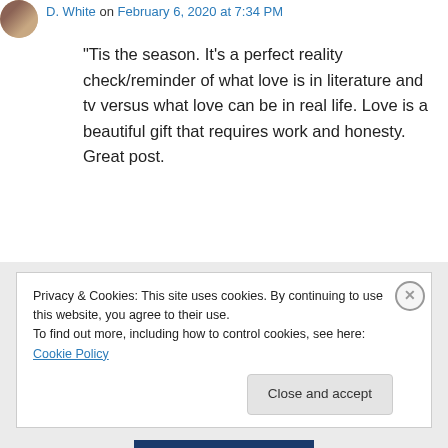D. White on February 6, 2020 at 7:34 PM
“Tis the season. It’s a perfect reality check/reminder of what love is in literature and tv versus what love can be in real life. Love is a beautiful gift that requires work and honesty. Great post.
Liked by 2 people
↵ Reply
Privacy & Cookies: This site uses cookies. By continuing to use this website, you agree to their use.
To find out more, including how to control cookies, see here: Cookie Policy
Close and accept